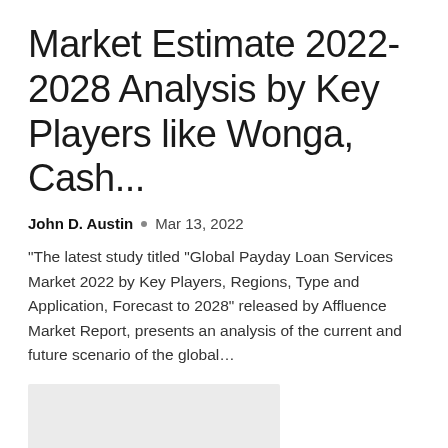Market Estimate 2022-2028 Analysis by Key Players like Wonga, Cash...
John D. Austin • Mar 13, 2022
“The latest study titled “Global Payday Loan Services Market 2022 by Key Players, Regions, Type and Application, Forecast to 2028” released by Affluence Market Report, presents an analysis of the current and future scenario of the global…
[Figure (photo): Placeholder image block (light grey rectangle)]
Online home furniture market